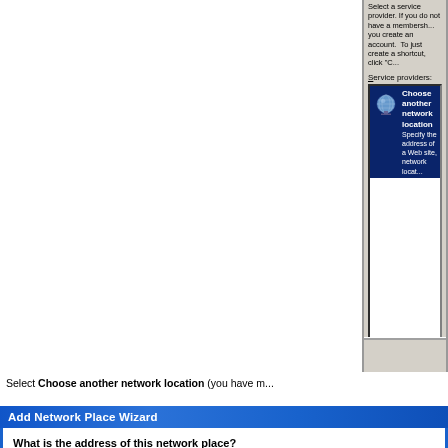[Figure (screenshot): Windows XP 'Add Network Place Wizard' dialog showing a listbox with 'Choose another network location' item selected (highlighted in dark blue), with a globe/network icon. Text above reads 'Service providers:'. The selected item text reads 'Specify the address of a Web site, network locat...']
Select Choose another network location (you have m...
[Figure (screenshot): Windows XP 'Add Network Place Wizard' dialog with blue gradient title bar showing 'Add Network Place Wizard' and body text 'What is the address of this network place?']